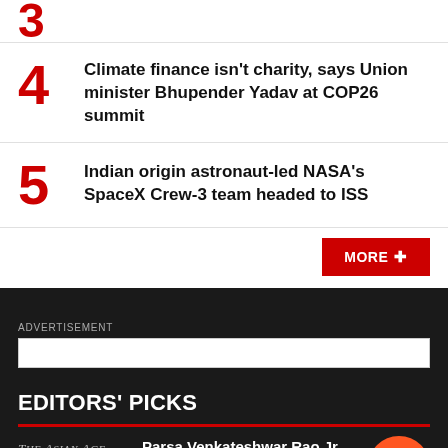3 (partial, cut off at top)
4 Climate finance isn't charity, says Union minister Bhupender Yadav at COP26 summit
5 Indian origin astronaut-led NASA's SpaceX Crew-3 team headed to ISS
MORE +
ADVERTISEMENT
EDITORS' PICKS
Parsa Venkateshwar Rao Jr Ambiguities remain amid In pledges at COP26
[Figure (logo): The Asian Age newspaper logo]